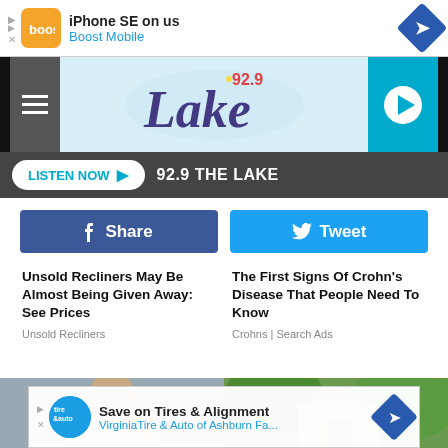[Figure (screenshot): Boost Mobile advertisement banner: iPhone SE on us, Boost Mobile]
[Figure (logo): 92.9 The Lake radio station header with hamburger menu, logo, and play button]
LISTEN NOW ▶  92.9 THE LAKE
[Figure (screenshot): Facebook Share button and Twitter Tweet button]
Unsold Recliners May Be Almost Being Given Away: See Prices
Unsold Recliners
The First Signs Of Crohn's Disease That People Need To Know
Crohns | Search Ads
[Figure (photo): Photo of a man smiling]
[Figure (photo): Photo of a garden shed surrounded by trees and greenery]
[Figure (screenshot): Virginia Tire & Auto advertisement: Save on Tires & Alignment, VirginiaTire & Auto of Ashburn Fa...]